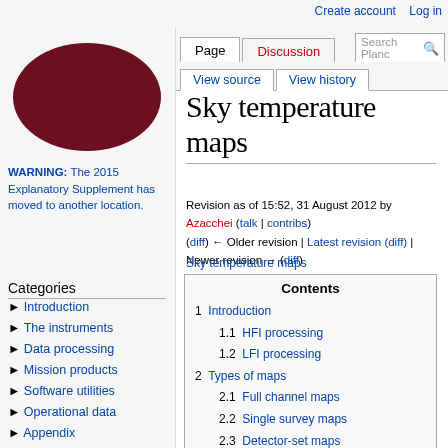Create account   Log in
[Figure (photo): Oval/elliptical cosmic microwave background sky map image, blue, red, and purple colors]
WARNING: The 2015 Explanatory Supplement has moved to another location.
Categories
► Introduction
► The instruments
► Data processing
► Mission products
► Software utilities
► Operational data
► Appendix
► To Be Replaced
Sky temperature maps
Revision as of 15:52, 31 August 2012 by Azacchei (talk | contribs) (diff) ← Older revision | Latest revision (diff) | Newer revision → (diff)
Sky temperature maps
| Contents |
| --- |
| 1  Introduction |
| 1.1  HFI processing |
| 1.2  LFI processing |
| 2  Types of maps |
| 2.1  Full channel maps |
| 2.2  Single survey maps |
| 2.3  Detector-set maps |